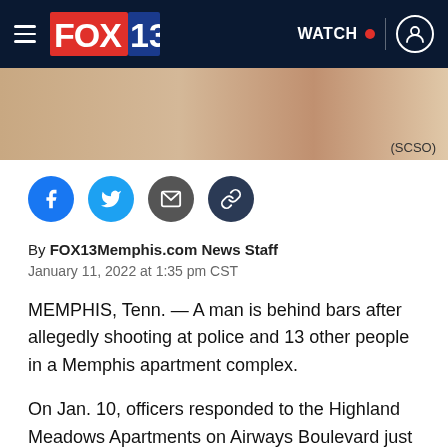FOX 13 — WATCH
[Figure (photo): Partial image of a person, cropped at the top of the article. Label '(SCSO)' appears at bottom right.]
[Figure (infographic): Social sharing icons: Facebook, Twitter, Email, Link]
By FOX13Memphis.com News Staff
January 11, 2022 at 1:35 pm CST
MEMPHIS, Tenn. — A man is behind bars after allegedly shooting at police and 13 other people in a Memphis apartment complex.
On Jan. 10, officers responded to the Highland Meadows Apartments on Airways Boulevard just after 3 a.m. Monday for a shots fired call.
As officers investigated, police observed Cheyenne